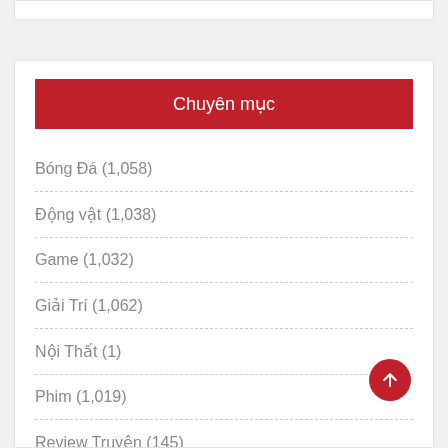Chuyên mục
Bóng Đá (1,058)
Động vật (1,038)
Game (1,032)
Giải Trí (1,062)
Nội Thất (1)
Phim (1,019)
Review Truyện (145)
Tin tức (1,030)